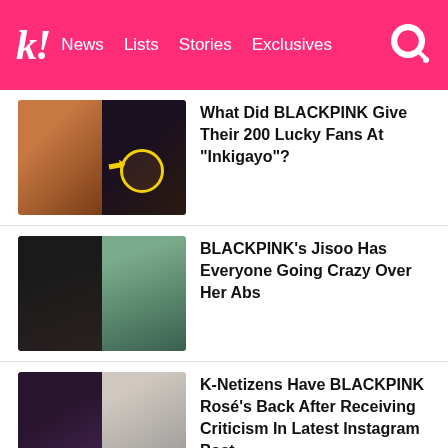k! News Lists Stories Exclusives
[Figure (screenshot): Thumbnail: BLACKPINK member in colorful outfit left, dark concert/photo right with yellow circle and arrow overlay]
What Did BLACKPINK Give Their 200 Lucky Fans At “Inkigayo”?
[Figure (screenshot): Thumbnail: Jisoo in black top left, Jisoo in black mask and sports bra right]
BLACKPINK’s Jisoo Has Everyone Going Crazy Over Her Abs
[Figure (screenshot): Thumbnail: dark-haired member close-up left, Rosé blonde close-up right]
K-Netizens Have BLACKPINK Rosé’s Back After Receiving Criticism In Latest Instagram Post
[Figure (screenshot): Thumbnail: person with peace sign left, performer on stage right]
BLACKPINK Jisoo’s Geomungo Instructor Praises Her Work Ethic And Admits He Was